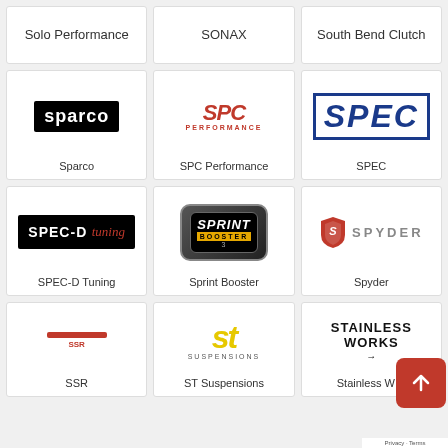[Figure (logo): Solo Performance brand card - text only]
Solo Performance
[Figure (logo): SONAX brand card - text only]
SONAX
[Figure (logo): South Bend Clutch brand card - text only]
South Bend Clutch
[Figure (logo): Sparco logo - white text on black background]
Sparco
[Figure (logo): SPC Performance logo - red italic bold text]
SPC Performance
[Figure (logo): SPEC logo - blue bold italic text with border]
SPEC
[Figure (logo): SPEC-D Tuning logo - white and red text on black]
SPEC-D Tuning
[Figure (logo): Sprint Booster logo - dark metallic badge with yellow band]
Sprint Booster
[Figure (logo): Spyder logo - red shield icon with grey SPYDER text]
Spyder
[Figure (logo): SSR logo - red horizontal line]
SSR
[Figure (logo): ST Suspensions logo - yellow bold italic ST with grey SUSPENSIONS text]
ST Suspensions
[Figure (logo): Stainless Works logo - black text STAINLESS WORKS]
Stainless W…